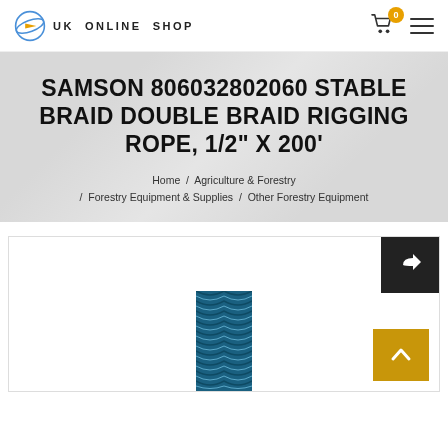UK Online Shop
SAMSON 806032802060 STABLE BRAID DOUBLE BRAID RIGGING ROPE, 1/2" X 200'
Home / Agriculture & Forestry / Forestry Equipment & Supplies / Other Forestry Equipment
[Figure (photo): Product image of braided rope, blue/teal colored double braid rigging rope]